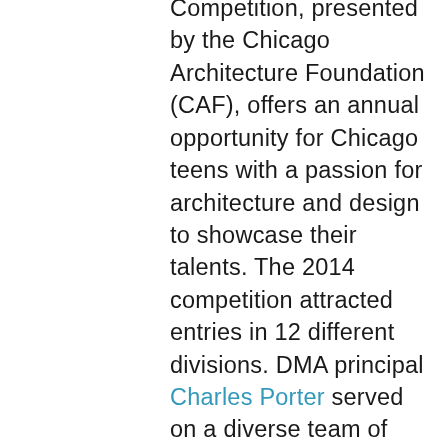Competition, presented by the Chicago Architecture Foundation (CAF), offers an annual opportunity for Chicago teens with a passion for architecture and design to showcase their talents. The 2014 competition attracted entries in 12 different divisions. DMA principal Charles Porter served on a diverse team of jurors assessing student work related to “Photography and Film: People and Place.” All entrants are eligible to apply for opportunities that include paid internships at Chicago firms and a unique study experience at Taliesin. DMA supports the CAF as a corporate partner and is committed to its mission of promoting quality building design and education. In addition to contributing time to the Newhouse competition, Charles serves on the CAF